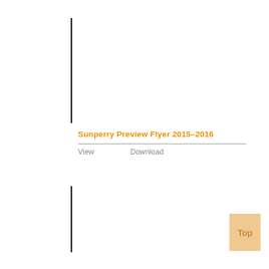Sunperry Preview Flyer 2015-2016
View    Download